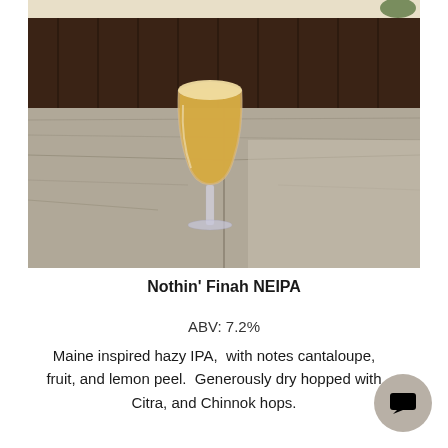[Figure (photo): A hazy golden IPA beer in a tulip glass sitting on a wooden table with dark wood paneling in the background.]
Nothin' Finah NEIPA
ABV: 7.2%
Maine inspired hazy IPA,  with notes cantaloupe, fruit, and lemon peel.  Generously dry hopped with __, Citra, and Chinnok hops.